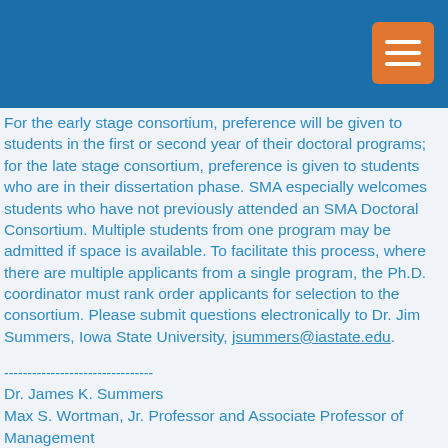For the early stage consortium, preference will be given to students in the first or second year of their doctoral programs; for the late stage consortium, preference is given to students who are in their dissertation phase. SMA especially welcomes students who have not previously attended an SMA Doctoral Consortium. Multiple students from one program may be admitted if space is available. To facilitate this process, where there are multiple applicants from a single program, the Ph.D. coordinator must rank order applicants for selection to the consortium. Please submit questions electronically to Dr. Jim Summers, Iowa State University, jsummers@iastate.edu.
--------------------------------
Dr. James K. Summers
Max S. Wortman, Jr. Professor and Associate Professor of Management
Department of Management and Entrepreneurship
Ivy College of Business
Iowa State University
Ames, Iowa 50011
--------------------------------